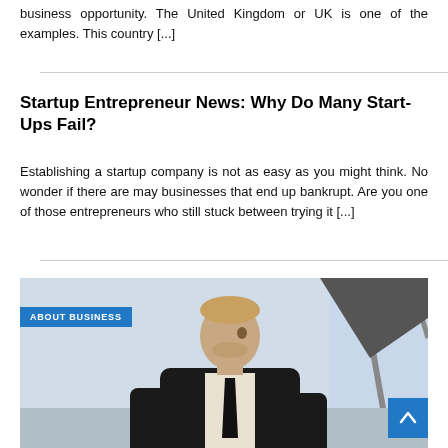business opportunity. The United Kingdom or UK is one of the examples. This country [...]
Startup Entrepreneur News: Why Do Many Start-Ups Fail?
Establishing a startup company is not as easy as you might think. No wonder if there are may businesses that end up bankrupt. Are you one of those entrepreneurs who still stuck between trying it [...]
ABOUT BUSINESS
[Figure (photo): A young businessman in a suit and tie looking to the side, photographed in an interior with windows in the background.]